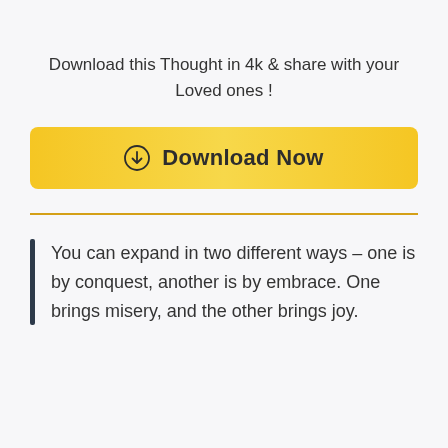Download this Thought in 4k & share with your Loved ones !
[Figure (other): Yellow gradient Download Now button with download icon]
You can expand in two different ways – one is by conquest, another is by embrace. One brings misery, and the other brings joy.